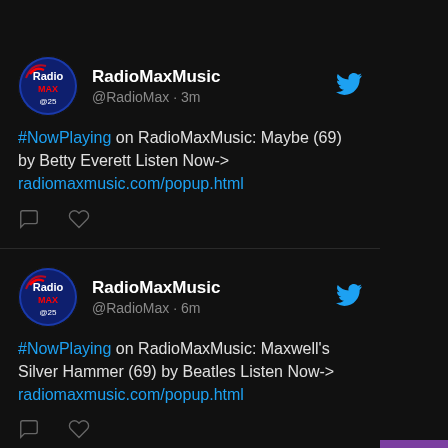[Figure (screenshot): Twitter/social media feed screenshot showing RadioMaxMusic tweets on dark background]
RadioMaxMusic @RadioMax · 3m #NowPlaying on RadioMaxMusic: Maybe (69) by Betty Everett Listen Now-> radiomaxmusic.com/popup.html
RadioMaxMusic @RadioMax · 6m #NowPlaying on RadioMaxMusic: Maxwell's Silver Hammer (69) by Beatles Listen Now-> radiomaxmusic.com/popup.html
RadioMaxMusic @RadioMax · 10m